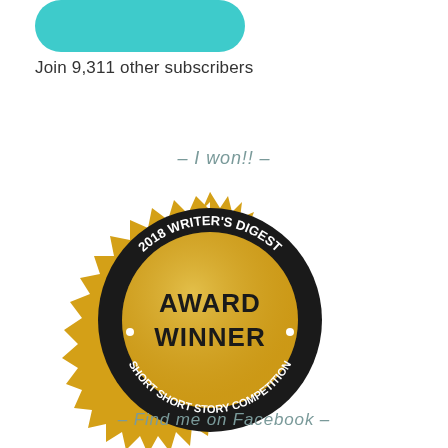[Figure (illustration): Teal/turquoise rounded rectangle button shape at top]
Join 9,311 other subscribers
– I won!! –
[Figure (logo): 2018 Writer's Digest Award Winner Short Short Story Competition gold seal badge]
– Find me on Facebook –